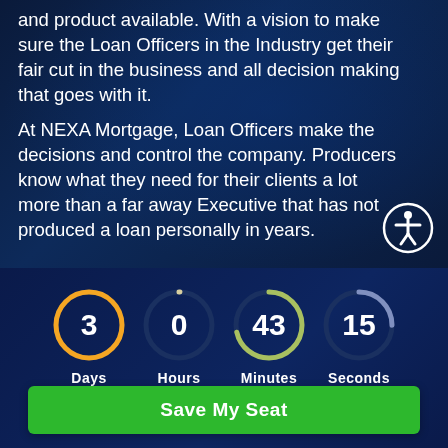and product available. With a vision to make sure the Loan Officers in the Industry get their fair cut in the business and all decision making that goes with it.
At NEXA Mortgage, Loan Officers make the decisions and control the company. Producers know what they need for their clients a lot more than a far away Executive that has not produced a loan personally in years.
[Figure (infographic): Countdown timer showing 3 Days, 0 Hours, 43 Minutes, 15 Seconds with circular progress indicators]
Save My Seat